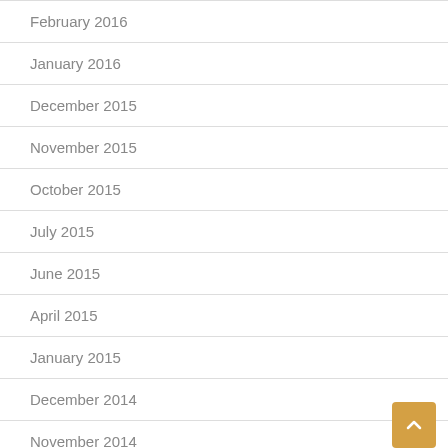February 2016
January 2016
December 2015
November 2015
October 2015
July 2015
June 2015
April 2015
January 2015
December 2014
November 2014
September 2014